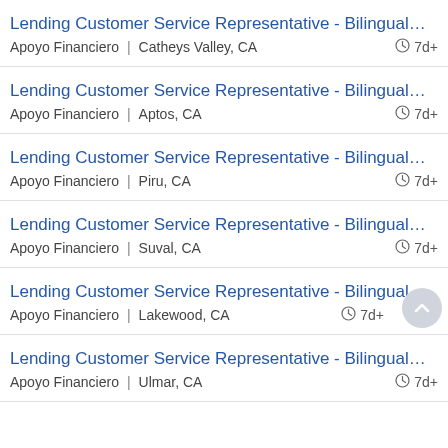Lending Customer Service Representative - Bilingual (Engli...
Apoyo Financiero | Catheys Valley, CA 7d+
Lending Customer Service Representative - Bilingual (Engli...
Apoyo Financiero | Aptos, CA 7d+
Lending Customer Service Representative - Bilingual (Engli...
Apoyo Financiero | Piru, CA 7d+
Lending Customer Service Representative - Bilingual (Engli...
Apoyo Financiero | Suval, CA 7d+
Lending Customer Service Representative - Bilingual (Engli...
Apoyo Financiero | Lakewood, CA 7d+
Lending Customer Service Representative - Bilingual (Engli...
Apoyo Financiero | Ulmar, CA 7d+